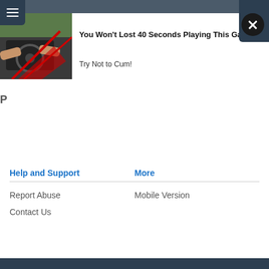[Figure (screenshot): Advertisement image showing car interior scene with red graphic overlay]
You Won't Lost 40 Seconds Playing This Game
Try Not to Cum!
Help and Support
More
Report Abuse
Contact Us
Mobile Version